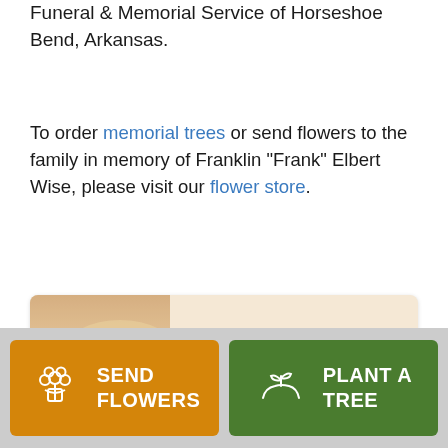Funeral & Memorial Service of Horseshoe Bend, Arkansas.
To order memorial trees or send flowers to the family in memory of Franklin "Frank" Elbert Wise, please visit our flower store.
[Figure (other): Send a Sympathy Card promotional banner with an image of a dock over water at sunset on the left and bold text 'Send a Sympathy Card' on the right.]
SEND FLOWERS
PLANT A TREE